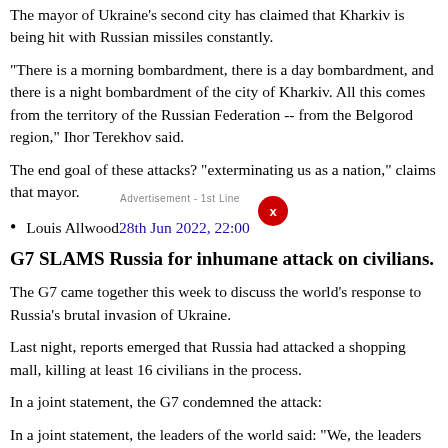The mayor of Ukraine's second city has claimed that Kharkiv is being hit with Russian missiles constantly.
"There is a morning bombardment, there is a day bombardment, and there is a night bombardment of the city of Kharkiv. All this comes from the territory of the Russian Federation -- from the Belgorod region," Ihor Terekhov said.
The end goal of these attacks? "exterminating us as a nation," claims that mayor.
Louis Allwood28th Jun 2022, 22:00
G7 SLAMS Russia for inhumane attack on civilians.
The G7 came together this week to discuss the world's response to Russia's brutal invasion of Ukraine.
Last night, reports emerged that Russia had attacked a shopping mall, killing at least 16 civilians in the process.
In a joint statement, the G7 condemned the attack:
In a joint statement, the leaders of the world said: "We, the leaders of the G7, solemnly condemn the abominable attack